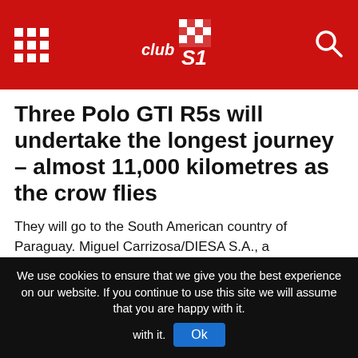Club S1 - navigation header with grid menu icon, logo, and search icon
Three Polo GTI R5s will undertake the longest journey – almost 11,000 kilometres as the crow flies
They will go to the South American country of Paraguay. Miguel Carrizosa/DIESA S.A., a Volkswagen importer in Paraguay, will run the cars at national events there.
“We assemble each car by hand in our workshop in Hannover,” said Juliane Gründl, head of sales and distribution at Volkswagen Motorsport. “We are on schedule. However, we are still in the process of structuring production, and in the implementation phase
We use cookies to ensure that we give you the best experience on our website. If you continue to use this site we will assume that you are happy with it.